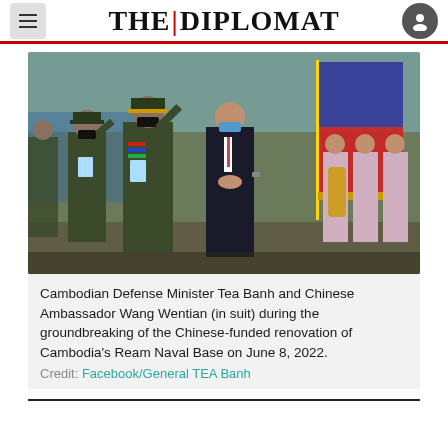THE DIPLOMAT
[Figure (photo): Cambodian Defense Minister Tea Banh in military uniform saluting, alongside Chinese Ambassador Wang Wentian in a suit with a face mask and hands clasped, at a military ceremony with flags and band members in background]
Cambodian Defense Minister Tea Banh and Chinese Ambassador Wang Wentian (in suit) during the groundbreaking of the Chinese-funded renovation of Cambodia's Ream Naval Base on June 8, 2022.
Credit: Facebook/General TEA Banh